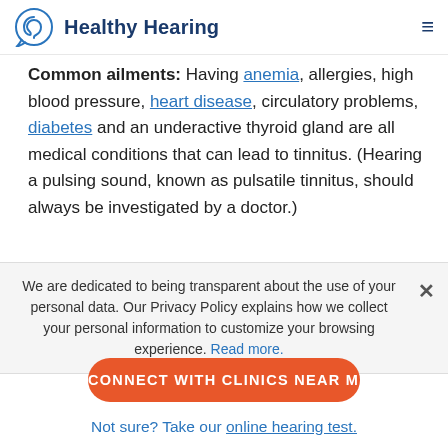Healthy Hearing
Common ailments: Having anemia, allergies, high blood pressure, heart disease, circulatory problems, diabetes and an underactive thyroid gland are all medical conditions that can lead to tinnitus. (Hearing a pulsing sound, known as pulsatile tinnitus, should always be investigated by a doctor.)
We are dedicated to being transparent about the use of your personal data. Our Privacy Policy explains how we collect your personal information to customize your browsing experience. Read more.
CONNECT WITH CLINICS NEAR ME
Not sure? Take our online hearing test.